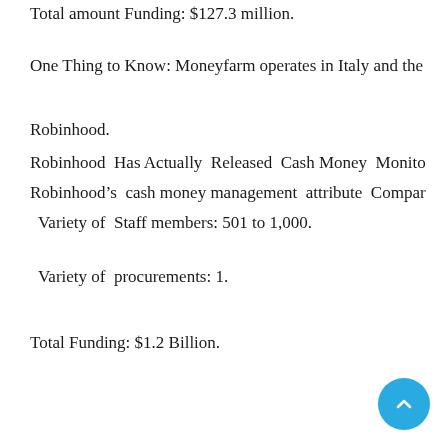Total amount Funding: $127.3 million.
One Thing to Know: Moneyfarm operates in Italy and the
Robinhood.
Robinhood Has Actually Released Cash Money Monito
Robinhood’s cash money management attribute Compar
Variety of Staff members: 501 to 1,000.
Variety of procurements: 1.
Total Funding: $1.2 Billion.